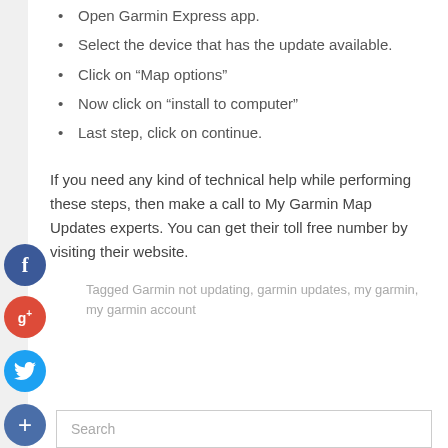Open Garmin Express app.
Select the device that has the update available.
Click on “Map options”
Now click on “install to computer”
Last step, click on continue.
If you need any kind of technical help while performing these steps, then make a call to My Garmin Map Updates experts. You can get their toll free number by visiting their website.
Tagged Garmin not updating, garmin updates, my garmin, my garmin account